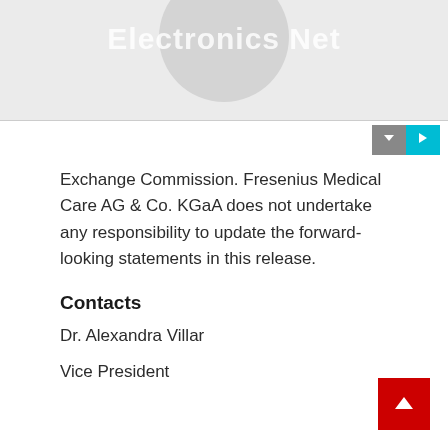[Figure (logo): Electronics Net logo watermark on gray background with circular icon]
[Figure (other): Toolbar with down-arrow button (dark gray) and play/forward button (teal)]
Exchange Commission. Fresenius Medical Care AG & Co. KGaA does not undertake any responsibility to update the forward-looking statements in this release.
Contacts
Dr. Alexandra Villar
Vice President